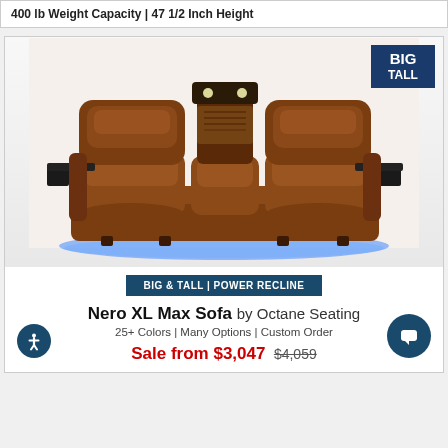400 lb Weight Capacity | 47 1/2 Inch Height
[Figure (photo): Brown leather three-seat recliner sofa (Nero XL Max Sofa) with power recline, center console with lights, tray tables on the sides, and blue LED underlighting. Product photo on white/light background.]
BIG & TALL | POWER RECLINE
Nero XL Max Sofa by Octane Seating
25+ Colors | Many Options | Custom Order
Sale from $3,047 | $4,059